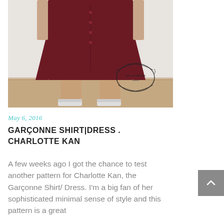[Figure (photo): A person wearing a dark red/burgundy oversized shirt dress with buttons down the front, showing the lower half of the body from waist down to feet wearing white sneakers. A decorative oval wreath logo watermark reading 'miss castidinhas' is visible in the lower right of the image. Background is a white wall and wooden floor.]
May 6, 2016
GARÇONNE SHIRT|DRESS . CHARLOTTE KAN
A few weeks ago I got the chance to test another pattern for Charlotte Kan, the Garçonne Shirt/ Dress. I'm a big fan of her sophisticated minimal sense of style and this pattern is a great...